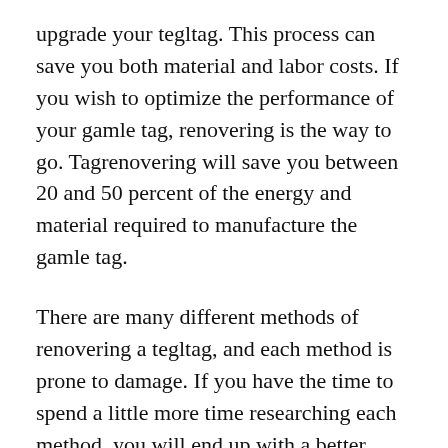upgrade your tegltag. This process can save you both material and labor costs. If you wish to optimize the performance of your gamle tag, renovering is the way to go. Tagrenovering will save you between 20 and 50 percent of the energy and material required to manufacture the gamle tag.
There are many different methods of renovering a tegltag, and each method is prone to damage. If you have the time to spend a little more time researching each method, you will end up with a better finished product. But before you entrust the task to someone else, make sure you know what you’re doing. Remember, that it’s not an easy task, and you don’t want to do more harm than good.